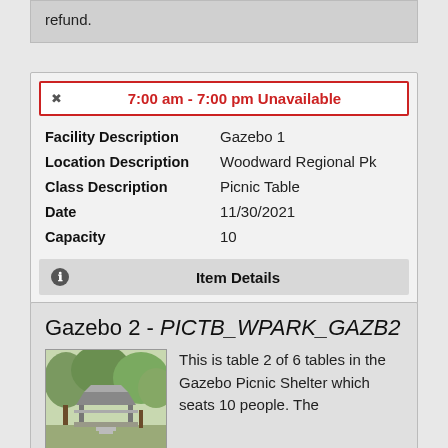refund.
7:00 am - 7:00 pm Unavailable
| Field | Value |
| --- | --- |
| Facility Description | Gazebo 1 |
| Location Description | Woodward Regional Pk |
| Class Description | Picnic Table |
| Date | 11/30/2021 |
| Capacity | 10 |
Item Details
Gazebo 2 - PICTB_WPARK_GAZB2
[Figure (photo): Photo of a gazebo/picnic shelter structure surrounded by trees]
This is table 2 of 6 tables in the Gazebo Picnic Shelter which seats 10 people. The